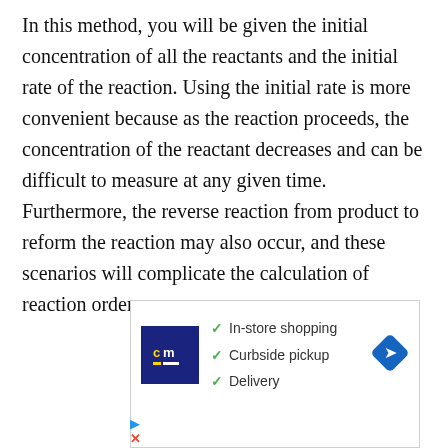In this method, you will be given the initial concentration of all the reactants and the initial rate of the reaction. Using the initial rate is more convenient because as the reaction proceeds, the concentration of the reactant decreases and can be difficult to measure at any given time. Furthermore, the reverse reaction from product to reform the reaction may also occur, and these scenarios will complicate the calculation of reaction orders.
[Figure (other): Advertisement box for a store (CM logo) showing checkmarks for: In-store shopping, Curbside pickup, Delivery, with a blue navigation/direction diamond icon on the right.]